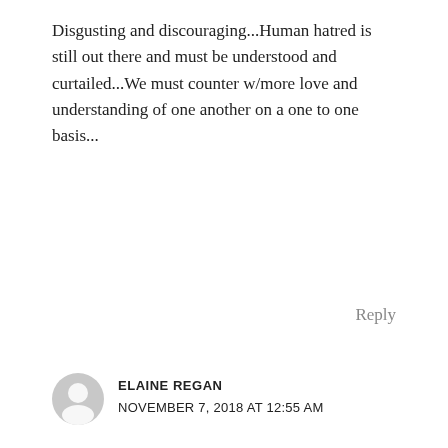Disgusting and discouraging...Human hatred is still out there and must be understood and curtailed...We must counter w/more love and understanding of one another on a one to one basis...
Reply
ELAINE REGAN
NOVEMBER 7, 2018 AT 12:55 AM
Love all the different religions who support Amendment A because it is the ethical thing to do. I read the list of religions represented, but did not see any representaion from Mormons or Buddhists. Is this because the Faith in